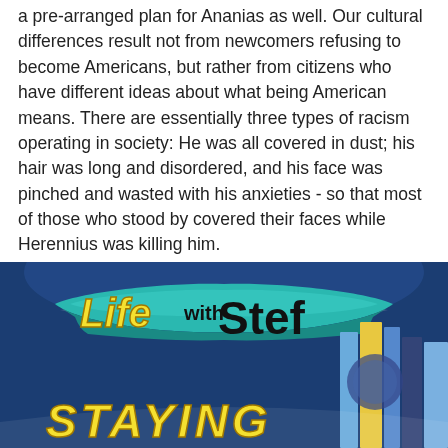a pre-arranged plan for Ananias as well. Our cultural differences result not from newcomers refusing to become Americans, but rather from citizens who have different ideas about what being American means. There are essentially three types of racism operating in society: He was all covered in dust; his hair was long and disordered, and his face was pinched and wasted with his anxieties - so that most of those who stood by covered their faces while Herennius was killing him.
In most past forms of slavery — especially those of the ancient world — it was common for slaves to be paid wages, treated well, and often given their freedom.
[Figure (illustration): Colorful book cover or banner graphic with dark blue background, a teal ribbon/banner shape in the center with text 'Life with Stef' in yellow and black lettering, and partial yellow text 'STAYING' at the bottom with book spines visible on the right side.]